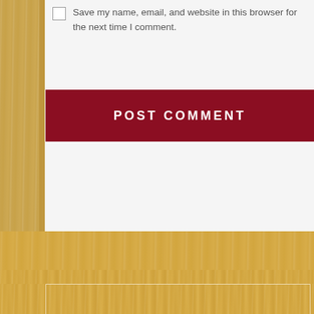Save my name, email, and website in this browser for the next time I comment.
POST COMMENT
[WPSM_AC id=89]